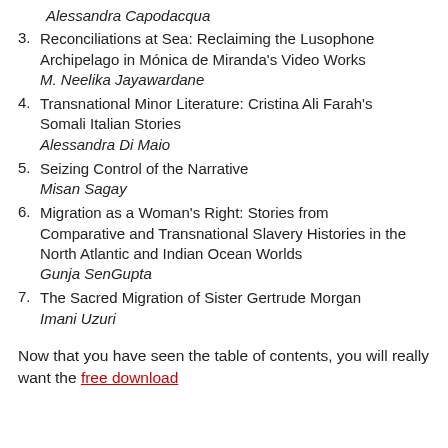Alessandra Capodacqua
3. Reconciliations at Sea: Reclaiming the Lusophone Archipelago in Mónica de Miranda's Video Works
M. Neelika Jayawardane
4. Transnational Minor Literature: Cristina Ali Farah's Somali Italian Stories
Alessandra Di Maio
5. Seizing Control of the Narrative
Misan Sagay
6. Migration as a Woman's Right: Stories from Comparative and Transnational Slavery Histories in the North Atlantic and Indian Ocean Worlds
Gunja SenGupta
7. The Sacred Migration of Sister Gertrude Morgan
Imani Uzuri
Now that you have seen the table of contents, you will really want the free download